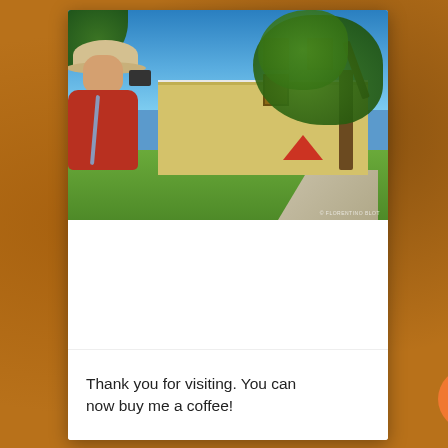[Figure (photo): Photograph of a person in a red shirt and sun hat taking a photo with a camera, in front of a yellow colonial building with trees in Antigua Guatemala]
Most Photogenic Spots of Antigua Guatemala
Thank you for visiting. You can now buy me a coffee!